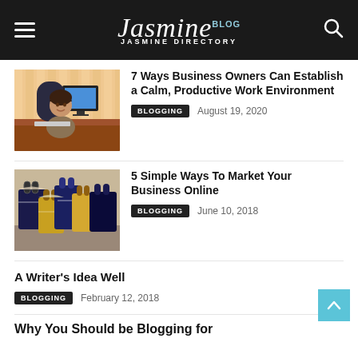Jasmine Blog – Jasmine Directory
7 Ways Business Owners Can Establish a Calm, Productive Work Environment
BLOGGING   August 19, 2020
5 Simple Ways To Market Your Business Online
BLOGGING   June 10, 2018
A Writer's Idea Well
BLOGGING   February 12, 2018
Why You Should be Blogging for